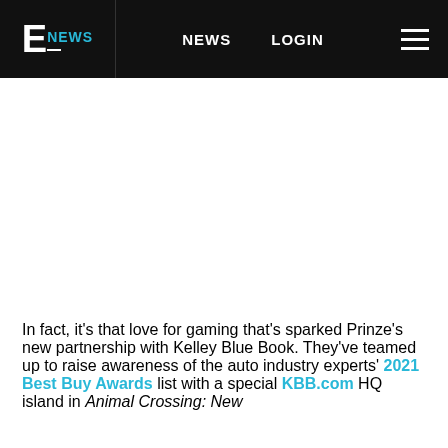E! NEWS | NEWS | LOGIN
In fact, it's that love for gaming that's sparked Prinze's new partnership with Kelley Blue Book. They've teamed up to raise awareness of the auto industry experts' 2021 Best Buy Awards list with a special KBB.com HQ island in Animal Crossing: New